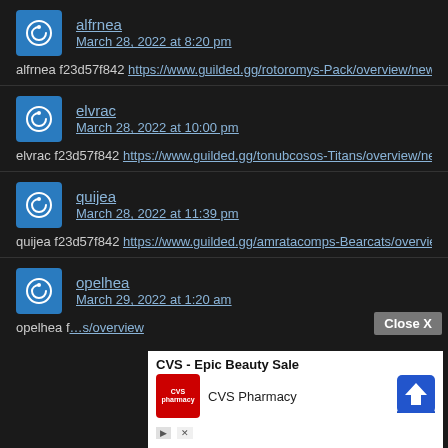alfrnea March 28, 2022 at 8:20 pm — alfrnea f23d57f842 https://www.guilded.gg/rotoromys-Pack/overview/new
elvrac March 28, 2022 at 10:00 pm — elvrac f23d57f842 https://www.guilded.gg/tonubcosos-Titans/overview/ne
quijea March 28, 2022 at 11:39 pm — quijea f23d57f842 https://www.guilded.gg/amratacomps-Bearcats/overvie
opelhea March 29, 2022 at 1:20 am — opelhea f... /s/overview
[Figure (other): CVS Pharmacy advertisement overlay with Close X button, CVS logo, text 'CVS - Epic Beauty Sale / CVS Pharmacy', and a red navigation arrow icon]